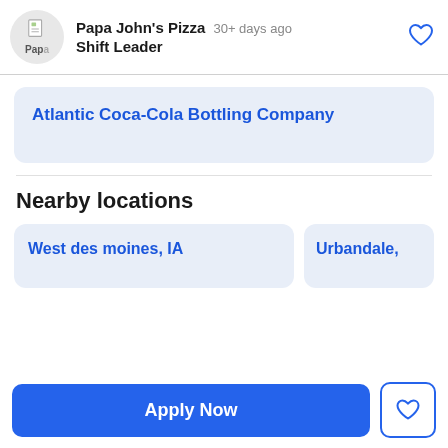[Figure (logo): Papa John's Pizza logo in a grey circle, showing a document icon and text 'Pap...']
Papa John's Pizza   30+ days ago
Shift Leader
Atlantic Coca-Cola Bottling Company
Nearby locations
West des moines, IA
Urbandale,
Apply Now